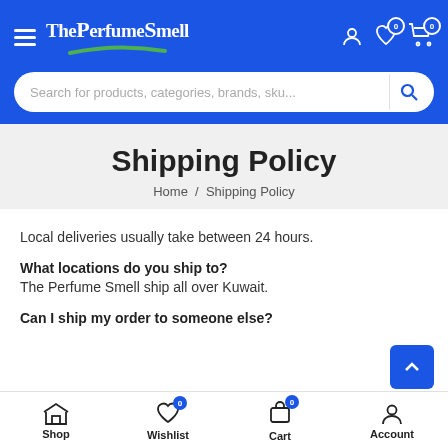ThePerfumeSmell — navigation header with hamburger menu, logo, user icon, wishlist (0), cart (0)
[Figure (screenshot): Search bar with placeholder: Search for products, categories, brands, sku...]
Shipping Policy
Home / Shipping Policy
Local deliveries usually take between 24 hours.
What locations do you ship to?
The Perfume Smell ship all over Kuwait.
Can I ship my order to someone else?
Shop | Wishlist (0) | Cart (0) | Account